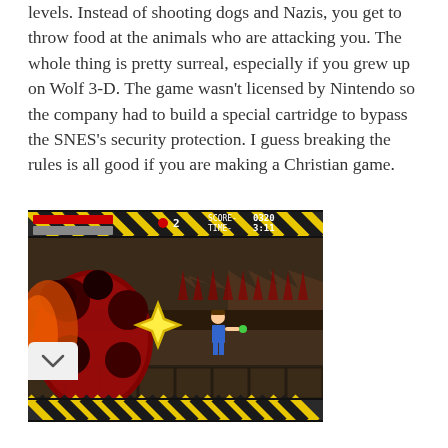levels.  Instead of shooting dogs and Nazis, you get to throw food at the animals who are attacking you.  The whole thing is pretty surreal, especially if you grew up on Wolf 3-D.  The game wasn't licensed by Nintendo so the company had to build a special cartridge to bypass the SNES's security protection.  I guess breaking the rules is all good if you are making a Christian game.
[Figure (screenshot): Screenshot of a side-scrolling video game showing a character fighting large organic/monster enemies. The HUD shows a health bar, score of 0320, time of 3:11, and 2 lives remaining. The background has a dark, hellish/gothic appearance with hazard stripes at top and bottom.]